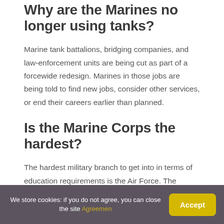Why are the Marines no longer using tanks?
Marine tank battalions, bridging companies, and law-enforcement units are being cut as part of a forcewide redesign. Marines in those jobs are being told to find new jobs, consider other services, or end their careers earlier than planned.
Is the Marine Corps the hardest?
The hardest military branch to get into in terms of education requirements is the Air Force. The military branch with the toughest basic training is the Marine
We store cookies: if you do not agree, you can close the site Agreemen
Accept